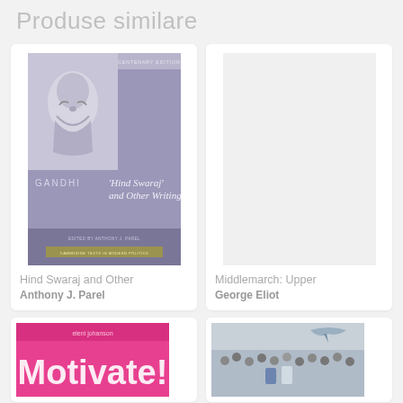Produse similare
[Figure (illustration): Book cover: Gandhi 'Hind Swaraj' and Other Writings, Centenary Edition, edited by Anthony J. Parel, Cambridge Texts in Modern Politics. Purple/lavender cover with portrait sketch.]
Hind Swaraj and Other
Anthony J. Parel
[Figure (illustration): Book cover: Middlemarch: Upper by George Eliot — blank/placeholder image shown]
Middlemarch: Upper
George Eliot
[Figure (illustration): Book cover: Motivate! by eleni johanson — bright pink cover]
[Figure (photo): Book cover showing crowd of people with a bird/eagle image]